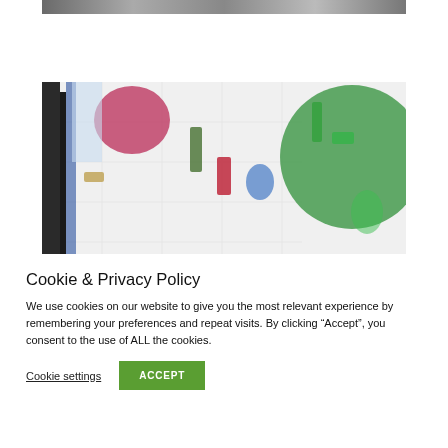[Figure (photo): Partial view of top photo (cropped at top of page)]
[Figure (photo): Interior photo showing colorful translucent acrylic or glass discs and shapes (pink, green, blue, red) hanging or mounted in a white tiled space with a dark handrail on the left and green large circular element on the right]
Cookie & Privacy Policy
We use cookies on our website to give you the most relevant experience by remembering your preferences and repeat visits. By clicking “Accept”, you consent to the use of ALL the cookies.
Cookie settings  ACCEPT